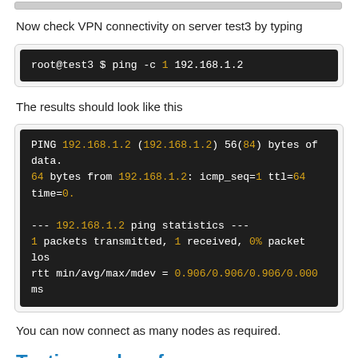[Figure (screenshot): Top portion of a code/terminal screenshot (cut off at top)]
Now check VPN connectivity on server test3 by typing
[Figure (screenshot): Terminal code block: root@test3 $ ping -c 1 192.168.1.2]
The results should look like this
[Figure (screenshot): Terminal output showing ping results: PING 192.168.1.2 (192.168.1.2) 56(84) bytes of data. 64 bytes from 192.168.1.2: icmp_seq=1 ttl=64 time=0. --- 192.168.1.2 ping statistics --- 1 packets transmitted, 1 received, 0% packet los rtt min/avg/max/mdev = 0.906/0.906/0.906/0.000 ms]
You can now connect as many nodes as required.
Testing and performance
Depending on your network requirements it's important to